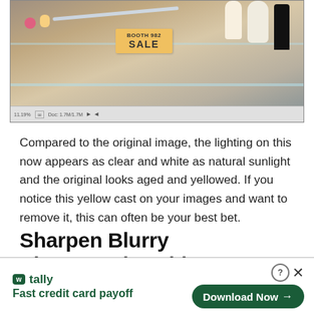[Figure (screenshot): Screenshot of a photo editing application showing a display case with a 'BOOTH 982 SALE' sign, various figurines and bottles on glass shelves. The image appears color-corrected to show clearer, whiter lighting. A toolbar is visible at the bottom of the screenshot.]
Compared to the original image, the lighting on this now appears as clear and white as natural sunlight and the original looks aged and yellowed. If you notice this yellow cast on your images and want to remove it, this can often be your best bet.
Sharpen Blurry Photographs without Damaging Color
[Figure (screenshot): Advertisement banner for Tally app: 'Fast credit card payoff' with a green 'Download Now' button and close controls (question mark circle and X).]